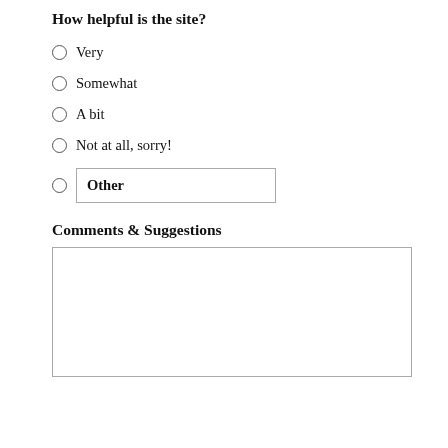How helpful is the site?
Very
Somewhat
A bit
Not at all, sorry!
Other
Comments & Suggestions